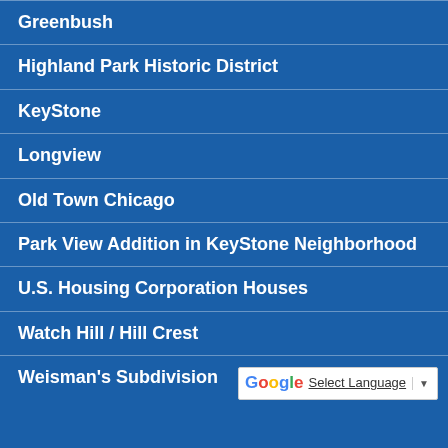Greenbush
Highland Park Historic District
KeyStone
Longview
Old Town Chicago
Park View Addition in KeyStone Neighborhood
U.S. Housing Corporation Houses
Watch Hill / Hill Crest
Weisman's Subdivision